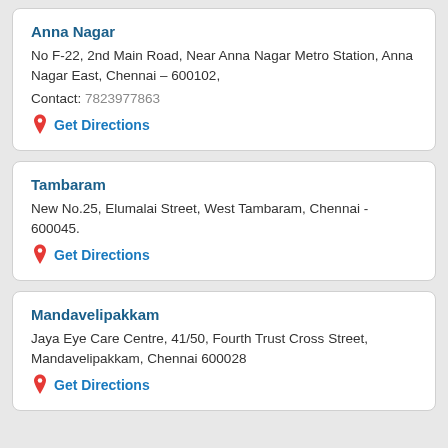Anna Nagar
No F-22, 2nd Main Road, Near Anna Nagar Metro Station, Anna Nagar East, Chennai – 600102,
Contact: 7823977863
Get Directions
Tambaram
New No.25, Elumalai Street, West Tambaram, Chennai - 600045.
Get Directions
Mandavelipakkam
Jaya Eye Care Centre, 41/50, Fourth Trust Cross Street, Mandavelipakkam, Chennai 600028
Get Directions